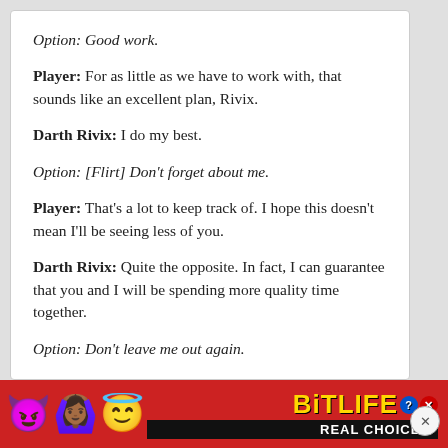Option: Good work.
Player: For as little as we have to work with, that sounds like an excellent plan, Rivix.
Darth Rivix: I do my best.
Option: [Flirt] Don't forget about me.
Player: That's a lot to keep track of. I hope this doesn't mean I'll be seeing less of you.
Darth Rivix: Quite the opposite. In fact, I can guarantee that you and I will be spending more quality time together.
Option: Don't leave me out again.
[Figure (screenshot): BitLife advertisement banner with emojis (devil, person with raised hands, angel face, sperm), BitLife logo in gold, and 'REAL CHOICES' text on red background]